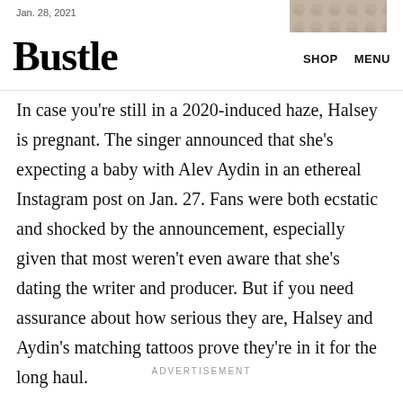Jan. 28, 2021
Bustle
In case you're still in a 2020-induced haze, Halsey is pregnant. The singer announced that she's expecting a baby with Alev Aydin in an ethereal Instagram post on Jan. 27. Fans were both ecstatic and shocked by the announcement, especially given that most weren't even aware that she's dating the writer and producer. But if you need assurance about how serious they are, Halsey and Aydin's matching tattoos prove they're in it for the long haul.
ADVERTISEMENT